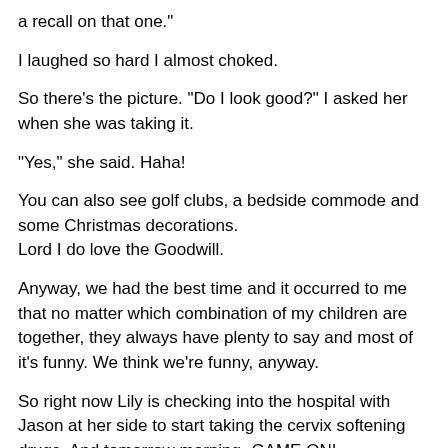a recall on that one."
I laughed so hard I almost choked.
So there's the picture. "Do I look good?" I asked her when she was taking it.
"Yes," she said. Haha!
You can also see golf clubs, a bedside commode and some Christmas decorations.
Lord I do love the Goodwill.
Anyway, we had the best time and it occurred to me that no matter which combination of my children are together, they always have plenty to say and most of it's funny. We think we're funny, anyway.
So right now Lily is checking into the hospital with Jason at her side to start taking the cervix softening drugs. And tomorrow morning- GAME ON!
We shall be seeing that boy within a reasonable amount of